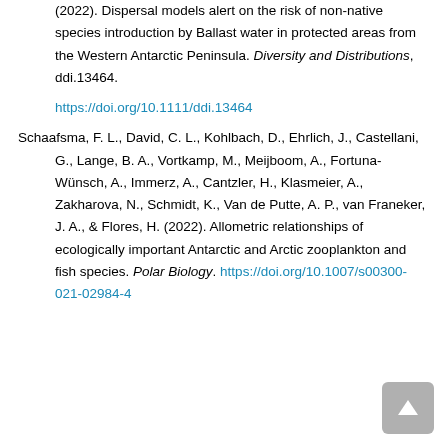(2022). Dispersal models alert on the risk of non-native species introduction by Ballast water in protected areas from the Western Antarctic Peninsula. Diversity and Distributions, ddi.13464. https://doi.org/10.1111/ddi.13464
Schaafsma, F. L., David, C. L., Kohlbach, D., Ehrlich, J., Castellani, G., Lange, B. A., Vortkamp, M., Meijboom, A., Fortuna-Wünsch, A., Immerz, A., Cantzler, H., Klasmeier, A., Zakharova, N., Schmidt, K., Van de Putte, A. P., van Franeker, J. A., & Flores, H. (2022). Allometric relationships of ecologically important Antarctic and Arctic zooplankton and fish species. Polar Biology. https://doi.org/10.1007/s00300-021-02984-4